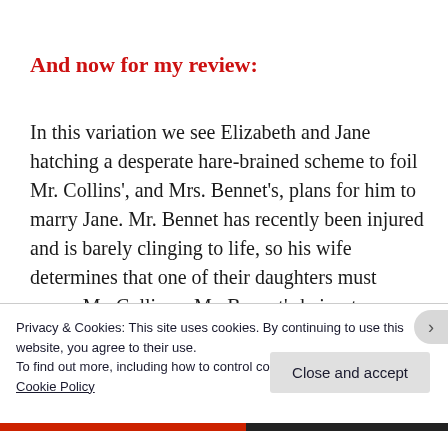And now for my review:
In this variation we see Elizabeth and Jane hatching a desperate hare-brained scheme to foil Mr. Collins', and Mrs. Bennet's, plans for him to marry Jane. Mr. Bennet has recently been injured and is barely clinging to life, so his wife determines that one of their daughters must marry Mr. Collins – Mr. Bennet's heir – to
Privacy & Cookies: This site uses cookies. By continuing to use this website, you agree to their use.
To find out more, including how to control cookies, see here: Cookie Policy